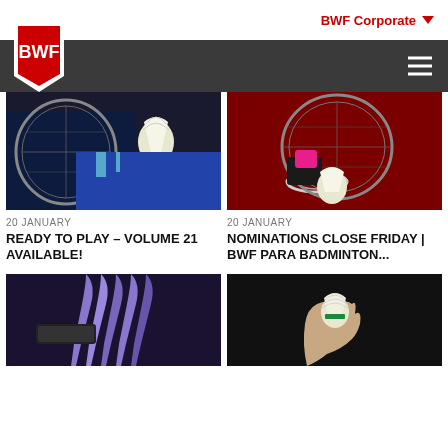BWF Corporate
[Figure (screenshot): BWF logo on dark navigation bar with hamburger menu]
[Figure (photo): Close-up of badminton shuttlecock and racket with player in blue jersey]
20 JANUARY
READY TO PLAY – VOLUME 21 AVAILABLE!
[Figure (photo): Close-up of badminton racket and shuttlecock held by wheelchair user with pink glove]
20 JANUARY
NOMINATIONS CLOSE FRIDAY | BWF PARA BADMINTON...
[Figure (photo): Close-up of badminton shuttlecock feathers and racket strings]
[Figure (photo): Hand holding a badminton shuttlecock against dark background]